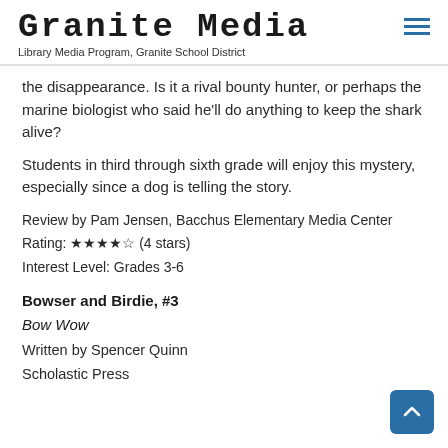Granite Media — Library Media Program, Granite School District
the disappearance. Is it a rival bounty hunter, or perhaps the marine biologist who said he'll do anything to keep the shark alive?
Students in third through sixth grade will enjoy this mystery, especially since a dog is telling the story.
Review by Pam Jensen, Bacchus Elementary Media Center
Rating: ★★★★☆ (4 stars)
Interest Level: Grades 3-6
Bowser and Birdie, #3
Bow Wow
Written by Spencer Quinn
Scholastic Press